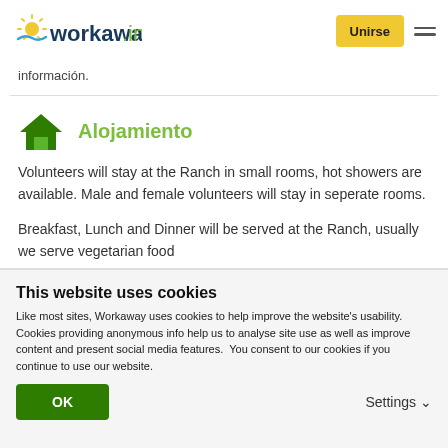workaway.info — Unirse
información.
Alojamiento
Volunteers will stay at the Ranch in small rooms, hot showers are available. Male and female volunteers will stay in seperate rooms.

Breakfast, Lunch and Dinner will be served at the Ranch, usually we serve vegetarian food
This website uses cookies
Like most sites, Workaway uses cookies to help improve the website's usability. Cookies providing anonymous info help us to analyse site use as well as improve content and present social media features.  You consent to our cookies if you continue to use our website.
OK    Settings